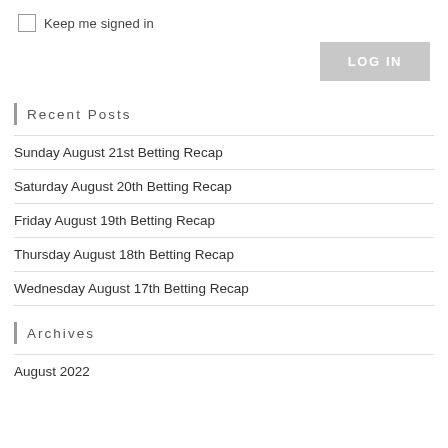Keep me signed in
LOG IN
Recent Posts
Sunday August 21st Betting Recap
Saturday August 20th Betting Recap
Friday August 19th Betting Recap
Thursday August 18th Betting Recap
Wednesday August 17th Betting Recap
Archives
August 2022